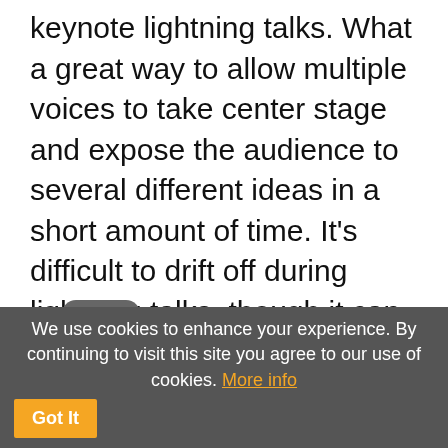keynote lightning talks. What a great way to allow multiple voices to take center stage and expose the audience to several different ideas in a short amount of time. It's difficult to drift off during lightning talks, though it can be mentally taxing to watch so many in a row. I found it stimulating, but as a virtual participant watching them after-the-fact, I could pause and go back to the recording throughout the day. I also know there were opportunities to talk with those lightning keynote speakers later (we also had a Virtually connecting session with Chris Gilliard on Digital Redlining which is highly recommended).
Another aspect I really enjoyed was a session I co-presented entitled Meeting the Potential of
We use cookies to enhance your experience. By continuing to visit this site you agree to our use of cookies. More info  Got It